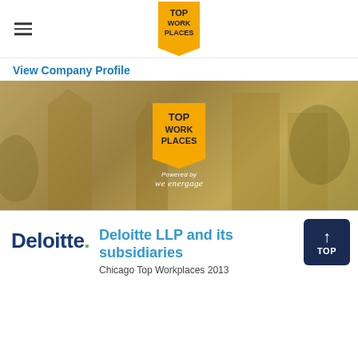TOP WORK PLACES (logo/header badge)
View Company Profile
[Figure (photo): Golden/sepia-toned banner image of city buildings with a Top Work Places badge logo centered, Powered by Energage text below badge]
[Figure (logo): Deloitte logo in dark blue bold text with green dot]
Deloitte LLP and its subsidiaries
Chicago Top Workplaces 2013